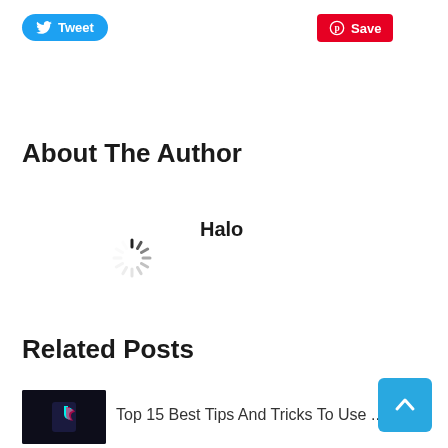[Figure (other): Tweet button (Twitter/X social share button, blue rounded pill shape) and Save button (Pinterest red rectangle) side by side]
About The Author
Halo
[Figure (other): Loading spinner (circular gray/black spokes animation)]
Related Posts
[Figure (other): Thumbnail image for related post (dark background with TikTok logo icon)]
Top 15 Best Tips And Tricks To Use ...
[Figure (other): Back to top button, blue square with upward chevron arrow, bottom right corner]